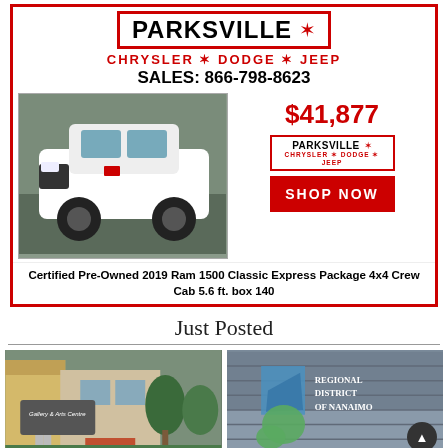[Figure (infographic): Parksville Chrysler Dodge Jeep dealership advertisement showing a white 2019 Ram 1500 Classic truck, price $41,877, with Shop Now button]
Certified Pre-Owned 2019 Ram 1500 Classic Express Package 4x4 Crew Cab 5.6 ft. box 140
Just Posted
[Figure (photo): Gallery & Arts Centre sign with building and trees]
[Figure (photo): Regional District of Nanaimo logo/sign on building exterior]